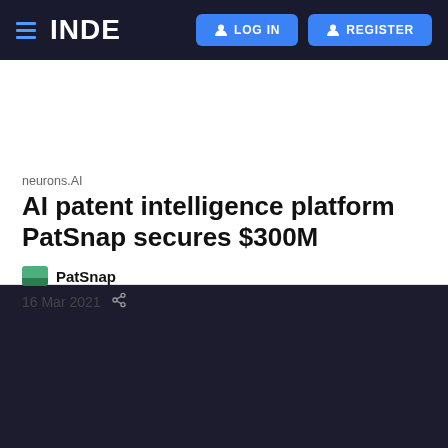INDE | LOG IN | REGISTER
neurons.AI
AI patent intelligence platform PatSnap secures $300M
PatSnap
16 Mar 2021